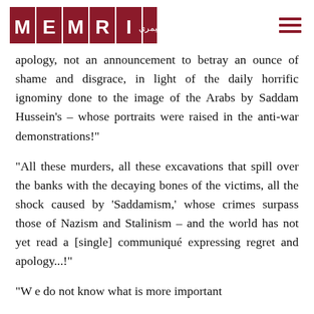MEMRI logo and navigation
apology, not an announcement to betray an ounce of shame and disgrace, in light of the daily horrific ignominy done to the image of the Arabs by Saddam Hussein's – whose portraits were raised in the anti-war demonstrations!"
"All these murders, all these excavations that spill over the banks with the decaying bones of the victims, all the shock caused by 'Saddamism,' whose crimes surpass those of Nazism and Stalinism – and the world has not yet read a [single] communiqué expressing regret and apology...!"
"W e do not know what is more important